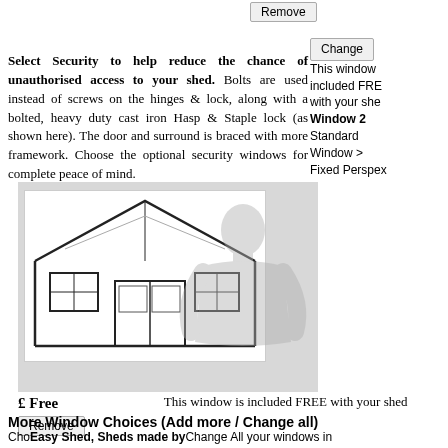Remove button at top
Change button at right
This window included FREE with your shed
Window 2
Standard Window > Fixed Perspex
Select Security to help reduce the chance of unauthorised access to your shed. Bolts are used instead of screws on the hinges & lock, along with a bolted, heavy duty cast iron Hasp & Staple lock (as shown here). The door and surround is braced with more framework. Choose the optional security windows for complete peace of mind.
[Figure (illustration): Line drawing of a garden shed with door and window, overlaid with silhouette of a person]
£ Free
Remove button
Change button
This window is included FREE with your shed
More Window Choices (Add more / Change all)
Choose the style and size. Change All your windows in one go, or Add more.
Easy Shed, Sheds made by Enjoy Shed: Frees fair value compared to alternatives considering the time
Standard | Perspex | Fixed | Change All or Add | Qty
Doors
It would have taken me to assemble. Good solid prices where